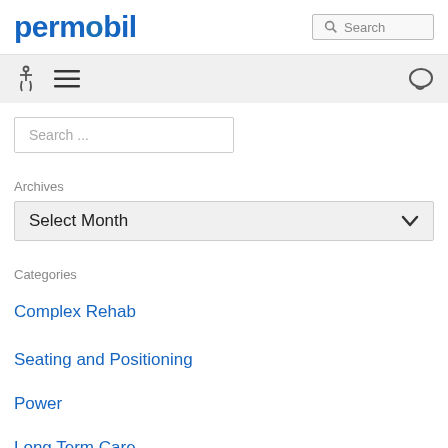permobil
[Figure (screenshot): Navigation bar with accessibility icon, hamburger menu, and chat bubble icon on a light gray background]
Search ...
Archives
Select Month
Categories
Complex Rehab
Seating and Positioning
Power
Long Term Care